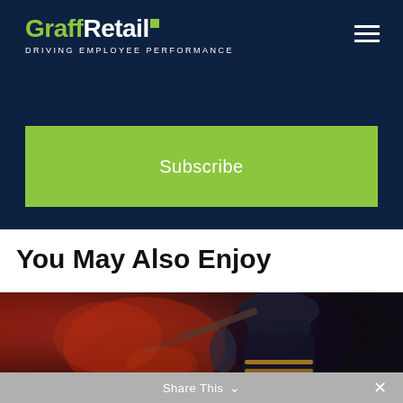GraffRetail — Driving Employee Performance
Subscribe
You May Also Enjoy
[Figure (photo): Firefighter in full gear with red lighting in dark environment]
Share This ∨  ✕